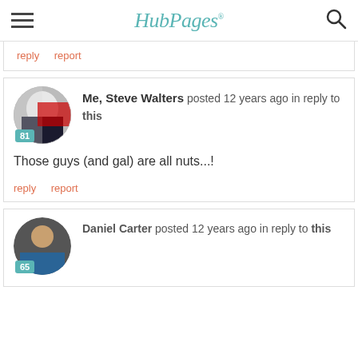HubPages
reply   report
Me, Steve Walters posted 12 years ago in reply to this
Those guys (and gal) are all nuts...!
reply   report
Daniel Carter posted 12 years ago in reply to this